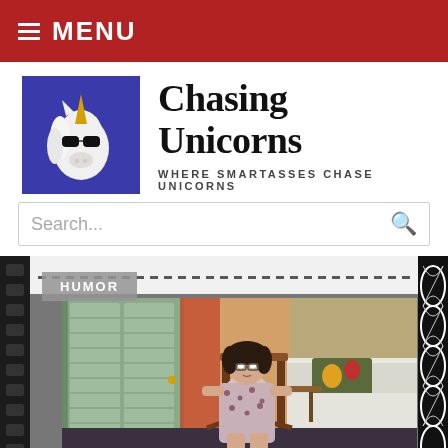MENU
Chasing Unicorns
WHERE SMARTASSES CHASE UNICORNS
Search...
HUMOR
[Figure (photo): Woman in floral dress sitting in a rocking chair in a room with shuttered windows, a bed with white bedspread and floral pillows, and orange/brown curtains]
Follow